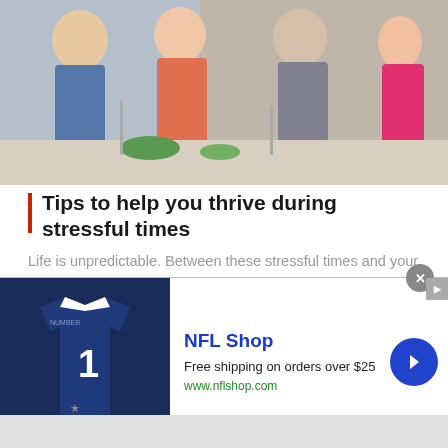[Figure (photo): Family cooking together in kitchen, multiple people preparing food]
Tips to help you thrive during stressful times
Life is unpredictable. Between these stressful times and your own personal challenges, you're
READ MORE
[Figure (photo): Person with brown hair, blurred background with window light]
[Figure (screenshot): NFL Shop advertisement banner: Free shipping on orders over $25, www.nflshop.com, with Dallas Cowboys jersey image and blue arrow button]